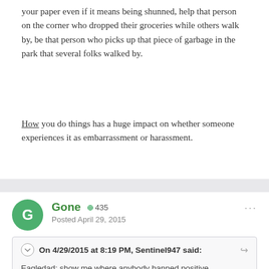your paper even if it means being shunned, help that person on the corner who dropped their groceries while others walk by, be that person who picks up that piece of garbage in the park that several folks walked by.
How you do things has a huge impact on whether someone experiences it as embarrassment or harassment.
Gone  +435  Posted April 29, 2015
On 4/29/2015 at 8:19 PM, Sentinel947 said:
Eagledad: show me where anybody banned positive recognition. Also show me how making Scouts sing for possessions or get sent on snipe hunts is positive recognition similiar to singing happy birthday.